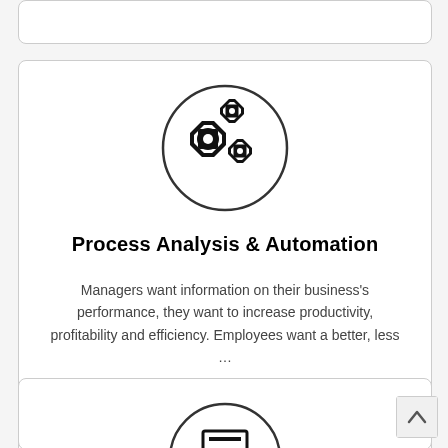[Figure (illustration): Partial white card with rounded border at top of page]
[Figure (illustration): Circle with gear/cog icons representing process automation]
Process Analysis & Automation
Managers want information on their business's performance, they want to increase productivity, profitability and efficiency. Employees want a better, less …
[Figure (illustration): Read More button in dark navy blue]
[Figure (illustration): Partial white card with rounded border at bottom, containing partial circle icon]
[Figure (illustration): Scroll-to-top arrow button in bottom-right corner]